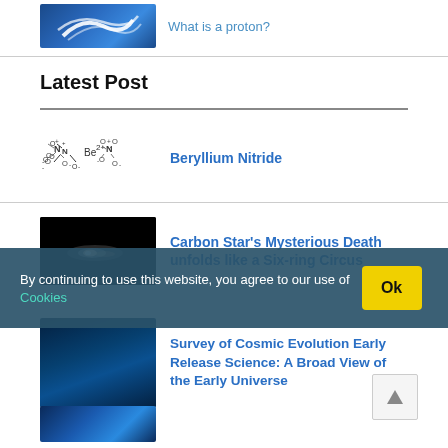[Figure (photo): Blue swirling logo/image thumbnail at top]
What is a proton?
Latest Post
[Figure (other): Beryllium Nitride chemical formula diagram showing -O-N-O- Be2+ -O-N-O- with superscripts]
Beryllium Nitride
[Figure (photo): Dark space image of a carbon star glowing white/orange streak against black background]
Carbon Star's Mysterious Death unfolds like a Six-ring Circus
By continuing to use this website, you agree to our use of Cookies
[Figure (photo): Dark teal/blue astronomical image thumbnail]
Survey of Cosmic Evolution Early Release Science: A Broad View of the Early Universe
[Figure (photo): Blue ocean/space image thumbnail at bottom]